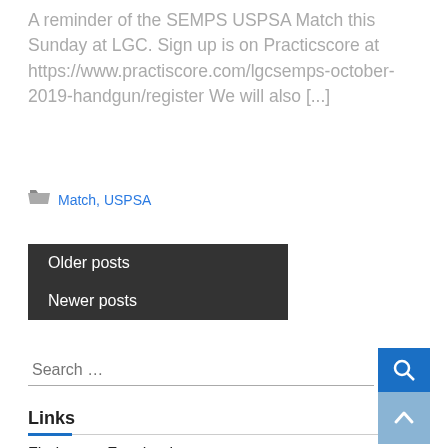A reminder of the SEMPS USPSA Match this Sunday at LGC.   Sign up is on Practicscore at https://www.practiscore.com/lgcsemps-october-2019-handgun/register We will also [...]
Match, USPSA
Older posts
Newer posts
[Figure (other): Search bar with blue search button]
Links
Find us on Facebook
LGC Multigun on Facebook
Michigan Gun Owners